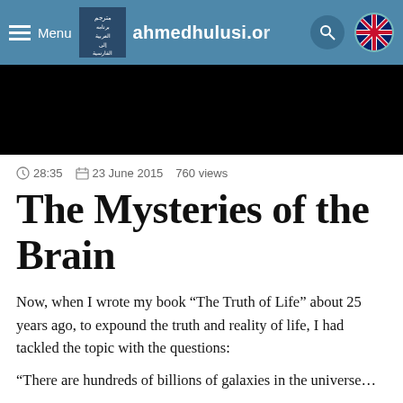Menu  ahmedhulusi.org
[Figure (screenshot): Black banner/header image area]
28:35  23 June 2015  760 views
The Mysteries of the Brain
Now, when I wrote my book “The Truth of Life” about 25 years ago, to expound the truth and reality of life, I had tackled the topic with the questions:
“There are hundreds of billions of galaxies in the universe…